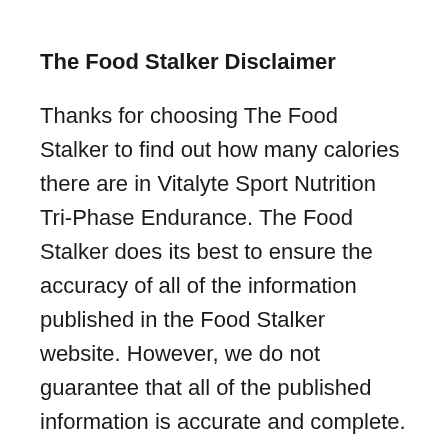The Food Stalker Disclaimer
Thanks for choosing The Food Stalker to find out how many calories there are in Vitalyte Sport Nutrition Tri-Phase Endurance. The Food Stalker does its best to ensure the accuracy of all of the information published in the Food Stalker website. However, we do not guarantee that all of the published information is accurate and complete. Please remember to consult your medical professional before you take any action in respect to anything you read on this site. Our information includes copyrights, trademarks,